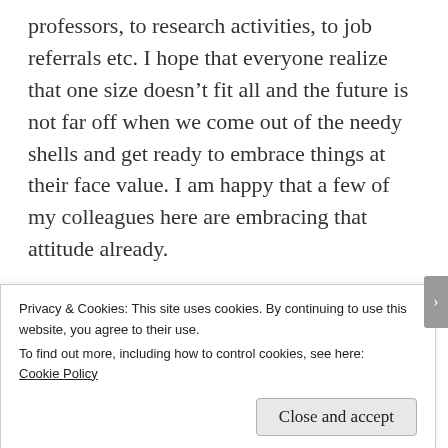professors, to research activities, to job referrals etc. I hope that everyone realize that one size doesn't fit all and the future is not far off when we come out of the needy shells and get ready to embrace things at their face value. I am happy that a few of my colleagues here are embracing that attitude already.
One of the best things that has happened after being here is an initiative called International Friends. American families in Tucson have
Privacy & Cookies: This site uses cookies. By continuing to use this website, you agree to their use.
To find out more, including how to control cookies, see here:
Cookie Policy
Close and accept